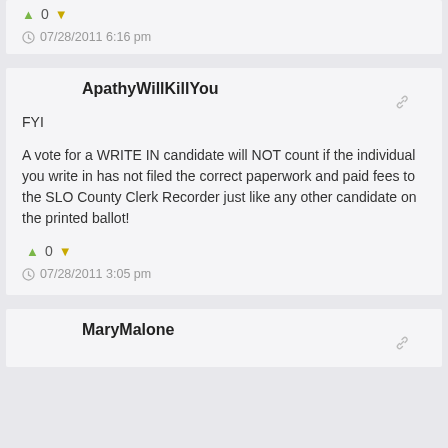^ 0 ∨
07/28/2011 6:16 pm
ApathyWillKillYou
FYI

A vote for a WRITE IN candidate will NOT count if the individual you write in has not filed the correct paperwork and paid fees to the SLO County Clerk Recorder just like any other candidate on the printed ballot!
^ 0 ∨
07/28/2011 3:05 pm
MaryMalone